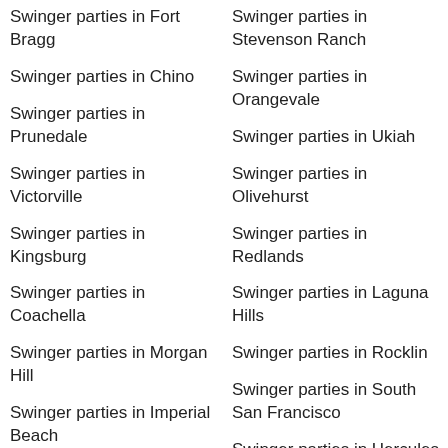Swinger parties in Stevenson Ranch
Swinger parties in Fort Bragg
Swinger parties in Orangevale
Swinger parties in Chino
Swinger parties in Ukiah
Swinger parties in Prunedale
Swinger parties in Olivehurst
Swinger parties in Victorville
Swinger parties in Redlands
Swinger parties in Kingsburg
Swinger parties in Laguna Hills
Swinger parties in Coachella
Swinger parties in Rocklin
Swinger parties in Morgan Hill
Swinger parties in South San Francisco
Swinger parties in Imperial Beach
Swinger parties in Hercules
Swinger parties in Norco
Swinger parties in North Auburn
Swinger parties in Los Altos
Swinger parties in Redwood City
Swinger parties in Sun Village
Swinger parties in Campbell
Swinger parties in Fountain Valley